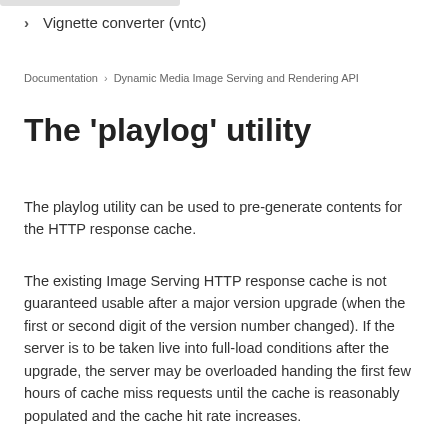> Vignette converter (vntc)
Documentation > Dynamic Media Image Serving and Rendering API
The ‘playlog’ utility
The playlog utility can be used to pre-generate contents for the HTTP response cache.
The existing Image Serving HTTP response cache is not guaranteed usable after a major version upgrade (when the first or second digit of the version number changed). If the server is to be taken live into full-load conditions after the upgrade, the server may be overloaded handing the first few hours of cache miss requests until the cache is reasonably populated and the cache hit rate increases.